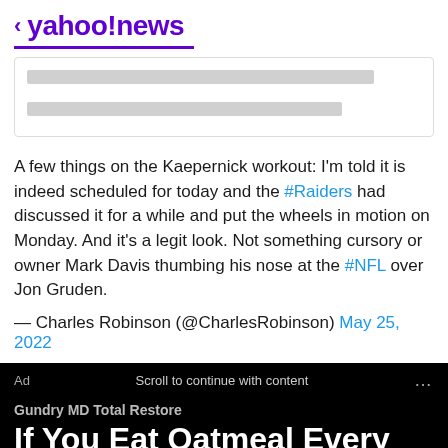< yahoo!news
[Figure (other): Ad placeholder with two gray loading bars inside a rounded rectangle]
A few things on the Kaepernick workout: I'm told it is indeed scheduled for today and the #Raiders had discussed it for a while and put the wheels in motion on Monday. And it's a legit look. Not something cursory or owner Mark Davis thumbing his nose at the #NFL over Jon Gruden.
— Charles Robinson (@CharlesRobinson) May 25, 2022
Ad   Scroll to continue with content   ...
Gundry MD Total Restore
If You Eat Oatmeal Every Day, This Is What